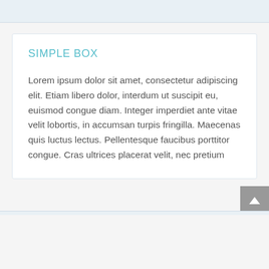SIMPLE BOX
Lorem ipsum dolor sit amet, consectetur adipiscing elit. Etiam libero dolor, interdum ut suscipit eu, euismod congue diam. Integer imperdiet ante vitae velit lobortis, in accumsan turpis fringilla. Maecenas quis luctus lectus. Pellentesque faucibus porttitor congue. Cras ultrices placerat velit, nec pretium